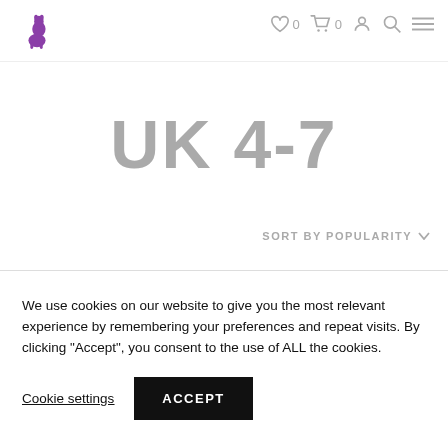The Alpaca Shop — navigation header with logo, wishlist (0), cart (0), account, search, and menu icons
UK 4-7
SORT BY POPULARITY
We use cookies on our website to give you the most relevant experience by remembering your preferences and repeat visits. By clicking “Accept”, you consent to the use of ALL the cookies.
Cookie settings   ACCEPT